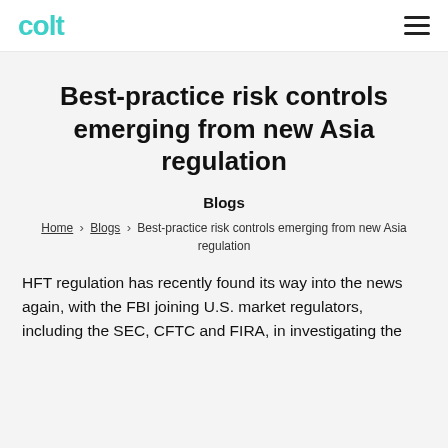colt
Best-practice risk controls emerging from new Asia regulation
Blogs
Home › Blogs › Best-practice risk controls emerging from new Asia regulation
HFT regulation has recently found its way into the news again, with the FBI joining U.S. market regulators, including the SEC, CFTC and FIRA, in investigating the